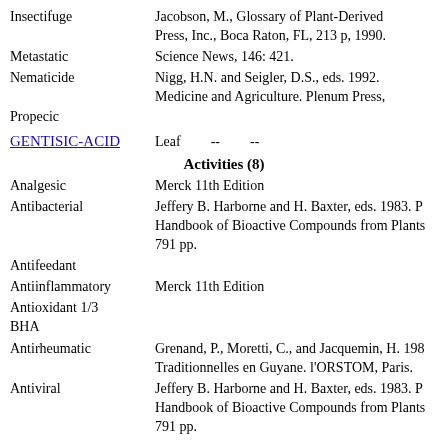Insectifuge
Jacobson, M., Glossary of Plant-Derived Press, Inc., Boca Raton, FL, 213 p, 1990.
Metastatic
Science News, 146: 421.
Nematicide
Nigg, H.N. and Seigler, D.S., eds. 1992. Medicine and Agriculture. Plenum Press,
Propecic
GENTISIC-ACID    Leaf    --    --
Activities (8)
Analgesic
Merck 11th Edition
Antibacterial
Jeffery B. Harborne and H. Baxter, eds. 1983. Phytochemical Dictionary. Handbook of Bioactive Compounds from Plants. Taylor & Frost, London. 791 pp.
Antifeedant
Antiinflammatory
Merck 11th Edition
Antioxidant 1/3 BHA
Antirheumatic
Grenand, P., Moretti, C., and Jacquemin, H. 198... Traditionnelles en Guyane. l'ORSTOM, Paris.
Antiviral
Jeffery B. Harborne and H. Baxter, eds. 1983. Phytochemical Dictionary. Handbook of Bioactive Compounds from Plants. Taylor & Frost, London. 791 pp.